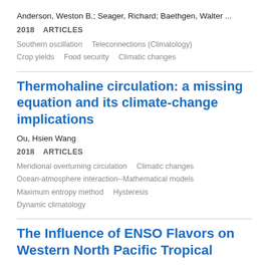Anderson, Weston B.; Seager, Richard; Baethgen, Walter ...
2018    ARTICLES
Southern oscillation    Teleconnections (Climatology)
Crop yields    Food security    Climatic changes
Thermohaline circulation: a missing equation and its climate-change implications
Ou, Hsien Wang
2018    ARTICLES
Meridional overturning circulation    Climatic changes
Ocean-atmosphere interaction--Mathematical models
Maximum entropy method    Hysteresis
Dynamic climatology
The Influence of ENSO Flavors on Western North Pacific Tropical